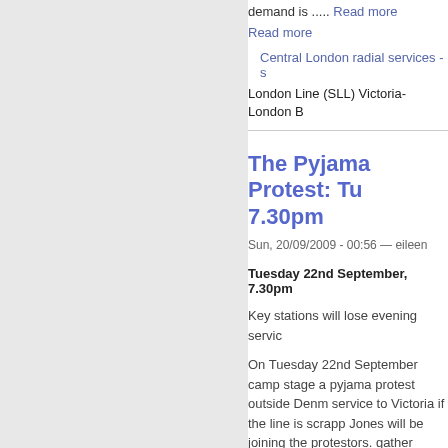demand is ..... Read more
Read more
Central London radial services - s
London Line (SLL) Victoria-London B
The Pyjama Protest: Tu 7.30pm
Sun, 20/09/2009 - 00:56 — eileen
Tuesday 22nd September, 7.30pm
Key stations will lose evening servic
On Tuesday 22nd September camp stage a pyjama protest outside Denm service to Victoria if the line is scrapp Jones will be joining the protestors. gather outside Denmark Hill Station a